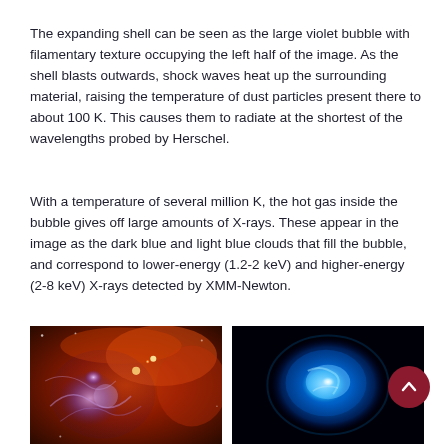The expanding shell can be seen as the large violet bubble with filamentary texture occupying the left half of the image. As the shell blasts outwards, shock waves heat up the surrounding material, raising the temperature of dust particles present there to about 100 K. This causes them to radiate at the shortest of the wavelengths probed by Herschel.
With a temperature of several million K, the hot gas inside the bubble gives off large amounts of X-rays. These appear in the image as the dark blue and light blue clouds that fill the bubble, and correspond to lower-energy (1.2-2 keV) and higher-energy (2-8 keV) X-rays detected by XMM-Newton.
[Figure (photo): Herschel infrared image of supernova remnant W44 showing warm colorful nebula with violet bubble and filamentary textures in orange/red/purple hues.]
Herschel image of SNR W44. Credit: ESA/PACS/SPIRE/Quang Nguyen Luong & Frederique Motte,
[Figure (photo): XMM-Newton X-ray image of supernova remnant W44 showing a bright blue glowing oval/elliptical structure on a black background.]
XMM-Newton image of SNR W44. Credit: ESA/XMM-Newton